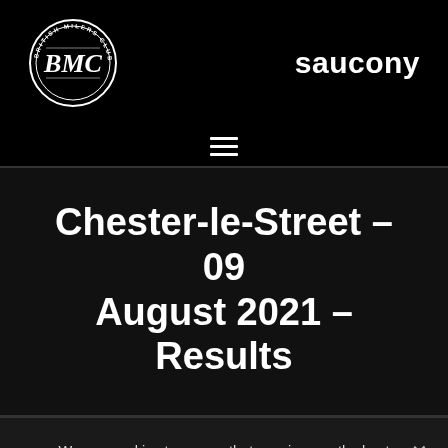[Figure (logo): British Milers Club circular badge logo with BMC letters in center]
saucony
[Figure (other): Hamburger menu icon with three horizontal lines]
Chester-le-Street – 09 August 2021 – Results
We use cookies to ensure that we give you the best experience on our website. If you continue to use this site we will assume that you are happy with it.
OK